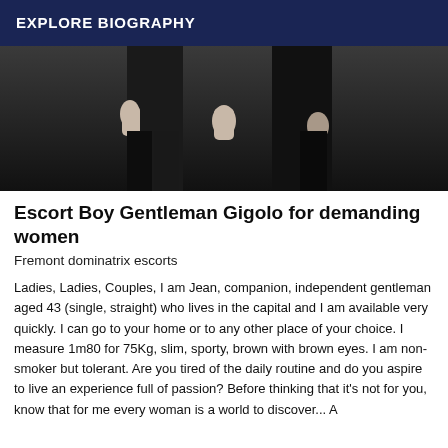EXPLORE BIOGRAPHY
[Figure (photo): Photo of two people dressed in black, showing their hands and lower bodies against a dark background]
Escort Boy Gentleman Gigolo for demanding women
Fremont dominatrix escorts
Ladies, Ladies, Couples, I am Jean, companion, independent gentleman aged 43 (single, straight) who lives in the capital and I am available very quickly. I can go to your home or to any other place of your choice. I measure 1m80 for 75Kg, slim, sporty, brown with brown eyes. I am non-smoker but tolerant. Are you tired of the daily routine and do you aspire to live an experience full of passion? Before thinking that it's not for you, know that for me every woman is a world to discover... A